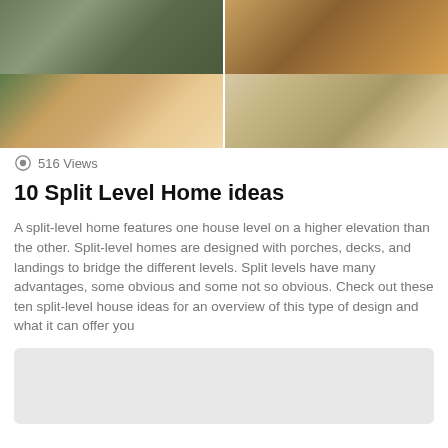[Figure (photo): Grid of four home interior/exterior photos showing split-level house ideas: top-left shows exterior of house with trees, top-right shows interior hallway with warm lighting, bottom-left shows a porch with rocking chairs, bottom-right shows a modern interior hallway with stairs and built-in storage]
516 Views
10 Split Level Home ideas
A split-level home features one house level on a higher elevation than the other. Split-level homes are designed with porches, decks, and landings to bridge the different levels. Split levels have many advantages, some obvious and some not so obvious. Check out these ten split-level house ideas for an overview of this type of design and what it can offer you
[Figure (other): Light gray placeholder box at bottom of page]